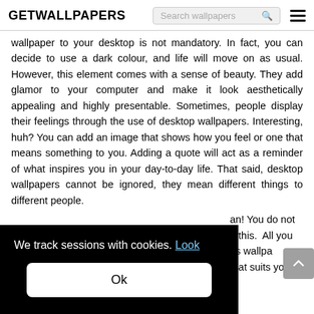GETWALLPAPERS  Search wallpapers  ☰
wallpaper to your desktop is not mandatory. In fact, you can decide to use a dark colour, and life will move on as usual. However, this element comes with a sense of beauty. They add glamor to your computer and make it look aesthetically appealing and highly presentable. Sometimes, people display their feelings through the use of desktop wallpapers. Interesting, huh? You can add an image that shows how you feel or one that means something to you. Adding a quote will act as a reminder of what inspires you in your day-to-day life. That said, desktop wallpapers cannot be ignored, they mean different things to different people.
[Figure (screenshot): Cookie consent overlay with text 'We track sessions with cookies. Look' and an 'Ok' button on dark background, partially covering the page content]
an! You do not o this. All you as wallpa that suits your needs and preferences.